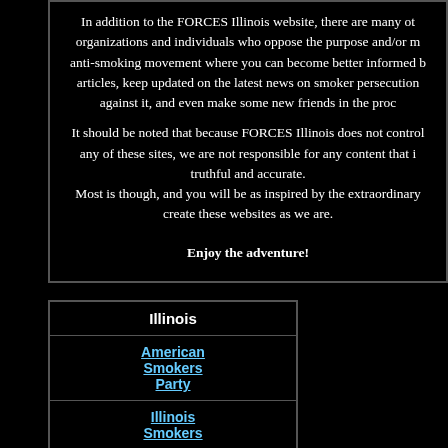In addition to the FORCES Illinois website, there are many other organizations and individuals who oppose the purpose and/or methods of the anti-smoking movement where you can become better informed by reading articles, keep updated on the latest news on smoker persecution and fight against it, and even make some new friends in the process.
It should be noted that because FORCES Illinois does not control any of these sites, we are not responsible for any content that is not truthful and accurate. Most is though, and you will be as inspired by the extraordinary people who create these websites as we are.
Enjoy the adventure!
| Illinois |
| --- |
| American Smokers Party |
| Illinois Smokers |